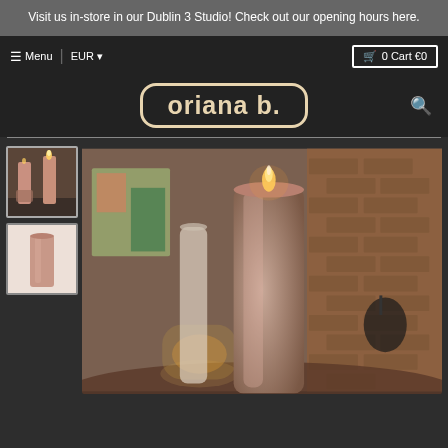Visit us in-store in our Dublin 3 Studio! Check out our opening hours here.
≡ Menu | EUR ▾ | 🛒 0 Cart €0
[Figure (logo): oriana b. logo in rounded rectangle border]
[Figure (photo): Thumbnail photo 1: pink pillar candles on a table with brick wall background]
[Figure (photo): Thumbnail photo 2: single pink pillar candle on white background]
[Figure (photo): Main large product photo: close-up of a lit pink/rose pillar candle on a reflective table with brick wall and painting in background]